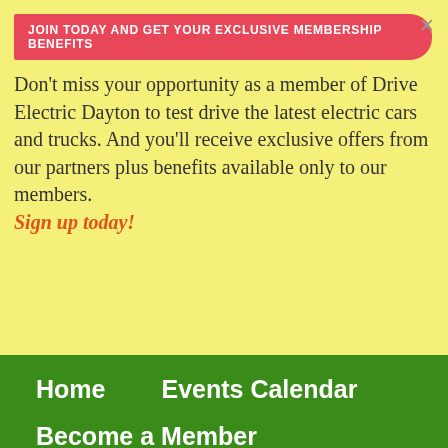JOIN TODAY AND GET YOUR EXCLUSIVE MEMBERSHIP BENEFITS
Don't miss your opportunity as a member of Drive Electric Dayton to test drive the latest electric cars and trucks. And you'll receive exclusive offers from our partners plus benefits available only to our members. Sign up today!
Home
Events Calendar
Become a Member
Partnership Opportunities
Latest News
Contact Us
TIM BENFORD   /   0